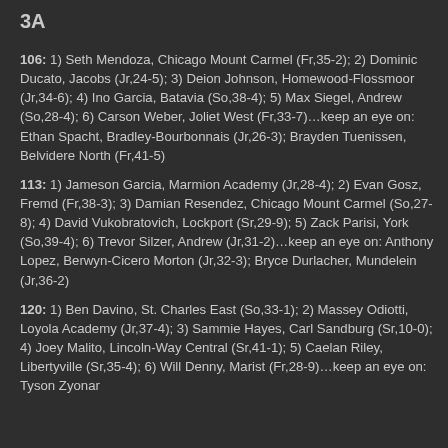3A
106: 1) Seth Mendoza, Chicago Mount Carmel (Fr,35-2); 2) Dominic Ducato, Jacobs (Jr,24-5); 3) Deion Johnson, Homewood-Flossmoor (Jr,34-6); 4) Ino Garcia, Batavia (So,38-4); 5) Max Siegel, Andrew (So,28-4); 6) Carson Weber, Joliet West (Fr,33-7)…keep an eye on: Ethan Spacht, Bradley-Bourbonnais (Jr,26-3); Brayden Tuenissen, Belvidere North (Fr,41-5)
113: 1) Jameson Garcia, Marmion Academy (Jr,28-4); 2) Evan Gosz, Fremd (Fr,38-3); 3) Damian Resendez, Chicago Mount Carmel (So,27-8); 4) David Vukobratovich, Lockport (Sr,29-9); 5) Zack Parisi, York (So,39-4); 6) Trevor Silzer, Andrew (Jr,31-2)…keep an eye on: Anthony Lopez, Berwyn-Cicero Morton (Jr,32-3); Bryce Durlacher, Mundelein (Jr,36-2)
120: 1) Ben Davino, St. Charles East (So,33-1); 2) Massey Odiotti, Loyola Academy (Jr,37-4); 3) Sammie Hayes, Carl Sandburg (Sr,10-0); 4) Joey Malito, Lincoln-Way Central (Sr,41-1); 5) Caelan Riley, Libertyville (Sr,35-4); 6) Will Denny, Marist (Fr,28-9)…keep an eye on: Tyson Zyonar